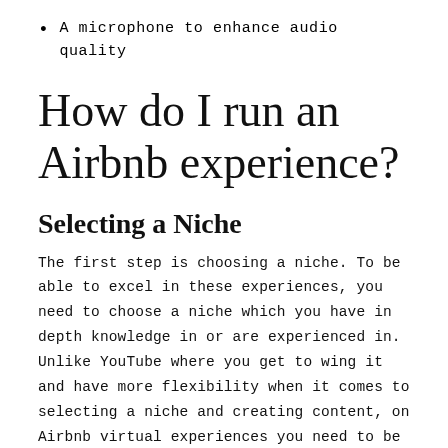A microphone to enhance audio quality
How do I run an Airbnb experience?
Selecting a Niche
The first step is choosing a niche. To be able to excel in these experiences, you need to choose a niche which you have in depth knowledge in or are experienced in. Unlike YouTube where you get to wing it and have more flexibility when it comes to selecting a niche and creating content, on Airbnb virtual experiences you need to be well-versed in your art and have in depth